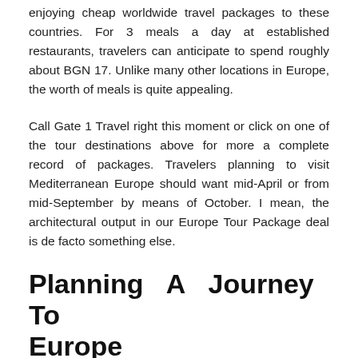enjoying cheap worldwide travel packages to these countries. For 3 meals a day at established restaurants, travelers can anticipate to spend roughly about BGN 17. Unlike many other locations in Europe, the worth of meals is quite appealing.
Call Gate 1 Travel right this moment or click on one of the tour destinations above for more a complete record of packages. Travelers planning to visit Mediterranean Europe should want mid-April or from mid-September by means of October. I mean, the architectural output in our Europe Tour Package deal is de facto something else.
Planning A Journey To Europe
Traveling to Europe was never really easy and reasonable. Travel for a trip...